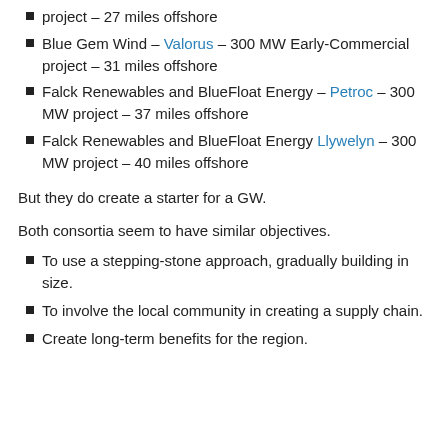project – 27 miles offshore
Blue Gem Wind – Valorus – 300 MW Early-Commercial project – 31 miles offshore
Falck Renewables and BlueFloat Energy – Petroc – 300 MW project – 37 miles offshore
Falck Renewables and BlueFloat Energy Llywelyn – 300 MW project – 40 miles offshore
But they do create a starter for a GW.
Both consortia seem to have similar objectives.
To use a stepping-stone approach, gradually building in size.
To involve the local community in creating a supply chain.
Create long-term benefits for the region.